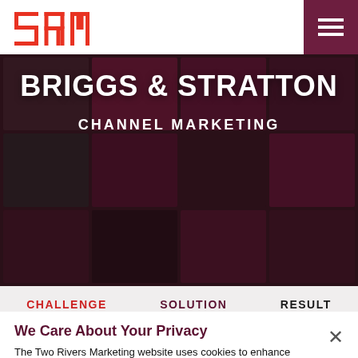[Figure (logo): 2RM logo in red on white header bar]
[Figure (screenshot): Briggs & Stratton Channel Marketing hero image with dark grid of marketing material thumbnails]
BRIGGS & STRATTON
CHANNEL MARKETING
CHALLENGE
SOLUTION
RESULT
We Care About Your Privacy
The Two Rivers Marketing website uses cookies to enhance user experience and to analyze performance and traffic. By clicking "Accept," you agree to the storing of cookies on your device to enhance site navigation, analyze site usage and assist in our marketing efforts.